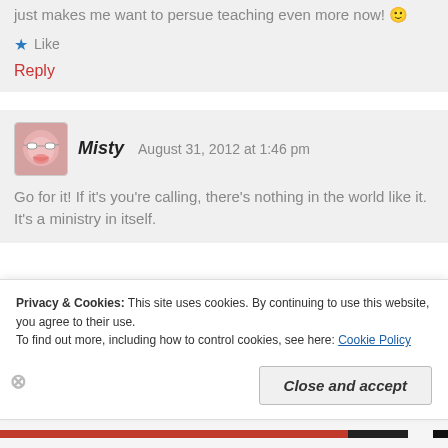just makes me want to persue teaching even more now! 🙂
★ Like
Reply
Misty  August 31, 2012 at 1:46 pm
Go for it! If it's you're calling, there's nothing in the world like it. It's a ministry in itself.
Privacy & Cookies: This site uses cookies. By continuing to use this website, you agree to their use.
To find out more, including how to control cookies, see here: Cookie Policy
Close and accept